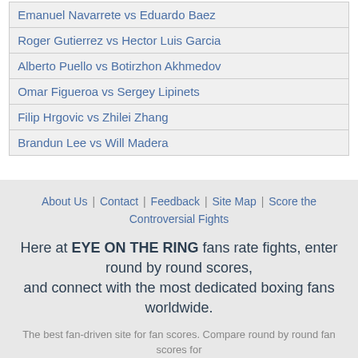| Emanuel Navarrete vs Eduardo Baez |
| Roger Gutierrez vs Hector Luis Garcia |
| Alberto Puello vs Botirzhon Akhmedov |
| Omar Figueroa vs Sergey Lipinets |
| Filip Hrgovic vs Zhilei Zhang |
| Brandun Lee vs Will Madera |
About Us | Contact | Feedback | Site Map | Score the Controversial Fights
Here at EYE ON THE RING fans rate fights, enter round by round scores, and connect with the most dedicated boxing fans worldwide.
The best fan-driven site for fan scores. Compare round by round fan scores for
Battle of the Broken Jaw: Muhammad Ali vs Ken Norton II, The Super Fight: Marvin Hagler vs Sugar